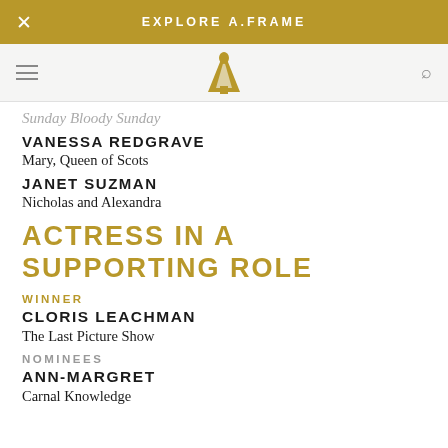EXPLORE A.FRAME
Sunday Bloody Sunday
VANESSA REDGRAVE
Mary, Queen of Scots
JANET SUZMAN
Nicholas and Alexandra
ACTRESS IN A SUPPORTING ROLE
WINNER
CLORIS LEACHMAN
The Last Picture Show
NOMINEES
ANN-MARGRET
Carnal Knowledge